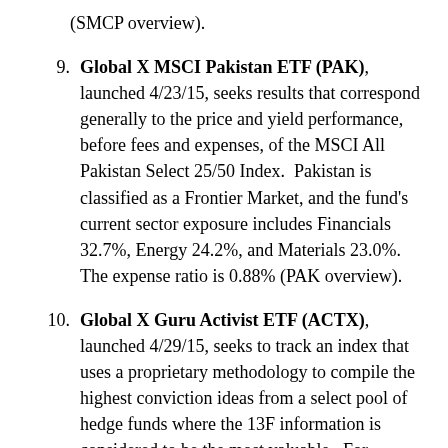(SMCP overview).
9. Global X MSCI Pakistan ETF (PAK), launched 4/23/15, seeks results that correspond generally to the price and yield performance, before fees and expenses, of the MSCI All Pakistan Select 25/50 Index.  Pakistan is classified as a Frontier Market, and the fund's current sector exposure includes Financials 32.7%, Energy 24.2%, and Materials 23.0%.  The expense ratio is 0.88% (PAK overview).
10. Global X Guru Activist ETF (ACTX), launched 4/29/15, seeks to track an index that uses a proprietary methodology to compile the highest conviction ideas from a select pool of hedge funds where the 13F information is considered to be the most valuable.  For